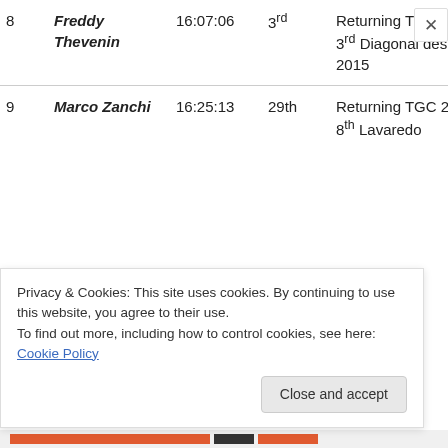| # | Name | Time | Place | Notes |
| --- | --- | --- | --- | --- |
| 8 | Freddy Thevenin | 16:07:06 | 3rd | Returning TGC 2016 – 3rd Diagonal des Fous 2015 |
| 9 | Marco Zanchi | 16:25:13 | 29th | Returning TGC 2016 – 8th Lavaredo |
Privacy & Cookies: This site uses cookies. By continuing to use this website, you agree to their use.
To find out more, including how to control cookies, see here: Cookie Policy